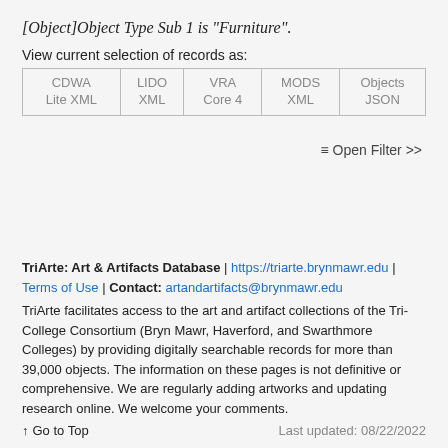[Object]Object Type Sub 1 is "Furniture".
View current selection of records as:
| CDWA Lite XML | LIDO XML | VRA Core 4 | MODS XML | Objects JSON |
| --- | --- | --- | --- | --- |
TriArte: Art & Artifacts Database | https://triarte.brynmawr.edu | Terms of Use | Contact: artandartifacts@brynmawr.edu
TriArte facilitates access to the art and artifact collections of the Tri-College Consortium (Bryn Mawr, Haverford, and Swarthmore Colleges) by providing digitally searchable records for more than 39,000 objects. The information on these pages is not definitive or comprehensive. We are regularly adding artworks and updating research online. We welcome your comments.
↑ Go to Top    Last updated: 08/22/2022